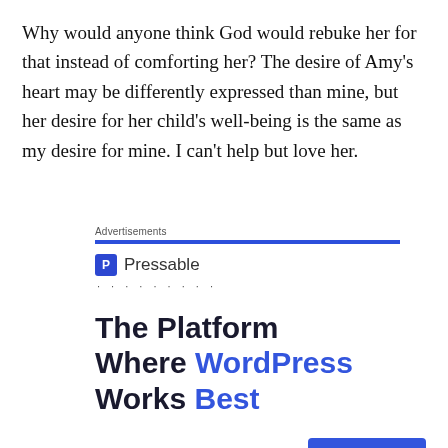Why would anyone think God would rebuke her for that instead of comforting her? The desire of Amy's heart may be differently expressed than mine, but her desire for her child's well-being is the same as my desire for mine. I can't help but love her.
[Figure (screenshot): Pressable advertisement banner. Shows 'Advertisements' label with blue bar, Pressable logo with icon, dotted separator, headline 'The Platform Where WordPress Works Best' in dark and blue bold text, and a 'SEE PRICING' button.]